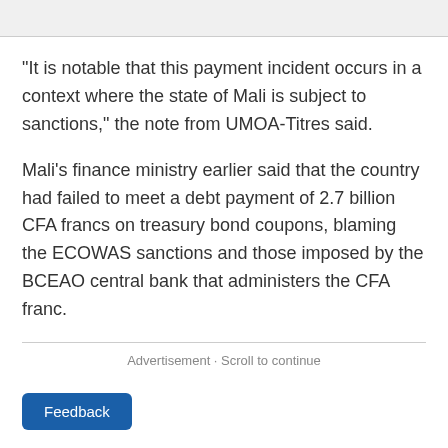"It is notable that this payment incident occurs in a context where the state of Mali is subject to sanctions," the note from UMOA-Titres said.
Mali's finance ministry earlier said that the country had failed to meet a debt payment of 2.7 billion CFA francs on treasury bond coupons, blaming the ECOWAS sanctions and those imposed by the BCEAO central bank that administers the CFA franc.
Advertisement · Scroll to continue